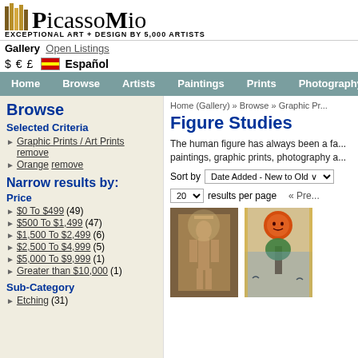PicassoMio - EXCEPTIONAL ART + DESIGN BY 5,000 ARTISTS
Gallery  Open Listings
$ € £  Español
Home  Browse  Artists  Paintings  Prints  Photography
Browse
Selected Criteria
Graphic Prints / Art Prints remove
Orange remove
Narrow results by:
Price
$0 To $499 (49)
$500 To $1,499 (47)
$1,500 To $2,499 (6)
$2,500 To $4,999 (5)
$5,000 To $9,999 (1)
Greater than $10,000 (1)
Sub-Category
Etching (31)
Home (Gallery) » Browse » Graphic Pr...
Figure Studies
The human figure has always been a fa... paintings, graphic prints, photography a...
Sort by  Date Added - New to Old
20  results per page  « Prev
[Figure (photo): Artwork thumbnail 1: sepia-toned figure study of a standing male figure]
[Figure (photo): Artwork thumbnail 2: colorful decorative illustration with sun face and tree motif]